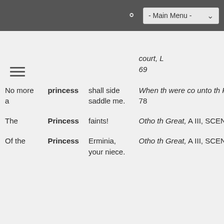- Main Menu -
| Context Before | Keyword | Context After | Source |
| --- | --- | --- | --- |
|  |  |  | court, L 69 |
| No more a | princess | shall side saddle me. | When th were co unto the Faery's court, Li 78 |
| The | Princess | faints! | Otho th Great, A III, SCEN Conrad, 73a |
| Of the | Princess | Erminia, your niece. | Otho th Great, A III, SCEN |